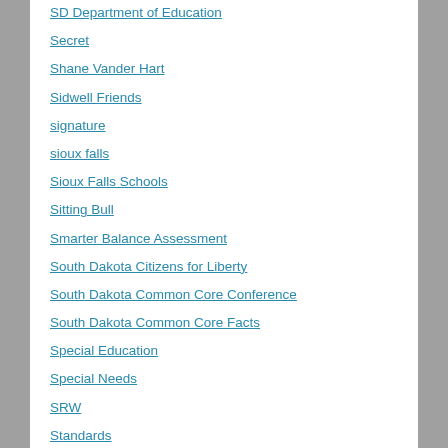SD Department of Education
Secret
Shane Vander Hart
Sidwell Friends
signature
sioux falls
Sioux Falls Schools
Sitting Bull
Smarter Balance Assessment
South Dakota Citizens for Liberty
South Dakota Common Core Conference
South Dakota Common Core Facts
Special Education
Special Needs
SRW
Standards